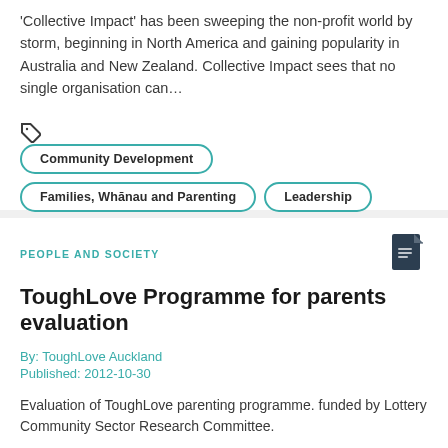'Collective Impact' has been sweeping the non-profit world by storm, beginning in North America and gaining popularity in Australia and New Zealand. Collective Impact sees that no single organisation can…
Community Development
Families, Whānau and Parenting
Leadership
PEOPLE AND SOCIETY
ToughLove Programme for parents evaluation
By: ToughLove Auckland
Published: 2012-10-30
Evaluation of ToughLove parenting programme. funded by Lottery Community Sector Research Committee.